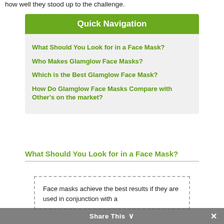how well they stood up to the challenge.
Quick Navigation
What Should You Look for in a Face Mask?
Who Makes Glamglow Face Masks?
Which is the Best Glamglow Face Mask?
How Do Glamglow Face Masks Compare with Other's on the market?
What Should You Look for in a Face Mask?
Face masks achieve the best results if they are used in conjunction with a